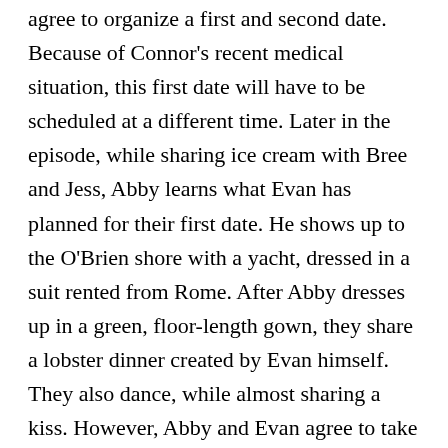agree to organize a first and second date. Because of Connor's recent medical situation, this first date will have to be scheduled at a different time. Later in the episode, while sharing ice cream with Bree and Jess, Abby learns what Evan has planned for their first date. He shows up to the O'Brien shore with a yacht, dressed in a suit rented from Rome. After Abby dresses up in a green, floor-length gown, they share a lobster dinner created by Evan himself. They also dance, while almost sharing a kiss. However, Abby and Evan agree to take their relationship slowly.
Connor's story: Connor is rushed to the hospital after suffering from a heart attack. He does, however, pull through the consequences of a full...